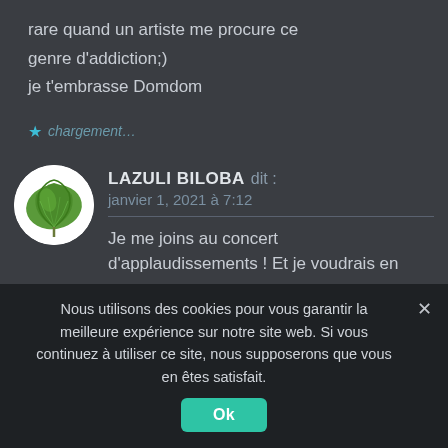rare quand un artiste me procure ce genre d'addiction;)
je t'embrasse Domdom
chargement...
LAZULI BILOBA dit :
janvier 1, 2021 à 7:12
Je me joins au concert d'applaudissements ! Et je voudrais en
Nous utilisons des cookies pour vous garantir la meilleure expérience sur notre site web. Si vous continuez à utiliser ce site, nous supposerons que vous en êtes satisfait.
Ok